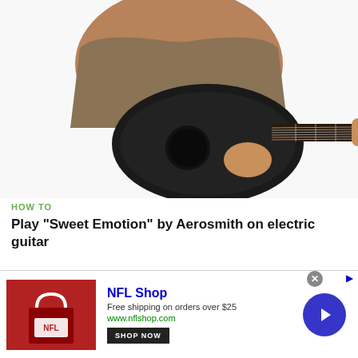[Figure (photo): Person in brown t-shirt playing a black acoustic guitar, cropped to show torso and hands only, white background]
HOW TO
Play "Sweet Emotion" by Aerosmith on electric guitar
[Figure (photo): Young man with curly brown hair in brown t-shirt playing a black acoustic guitar, looking down, white background, with a watermark in top right]
[Figure (other): NFL Shop advertisement banner: image of red NFL shop bag, text 'NFL Shop', 'Free shipping on orders over $25', 'www.nflshop.com', 'SHOP NOW' button, and a blue arrow circle button]